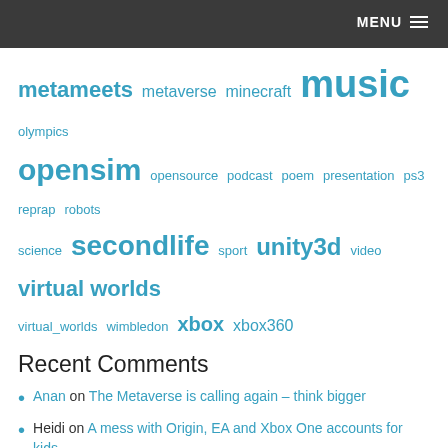MENU
metameets metaverse minecraft music olympics opensim opensource podcast poem presentation ps3 reprap robots science secondlife sport unity3d video virtual worlds virtual_worlds wimbledon xbox xbox360
Recent Comments
Anan on The Metaverse is calling again – think bigger
Heidi on A mess with Origin, EA and Xbox One accounts for kids
Michael Martine on Martial arts in the metaverse
Webcuber on The Cube, the Fast and the Clever
Andy Piper on Hello next generation gaming – Xbox Series X
Archives
August 2022